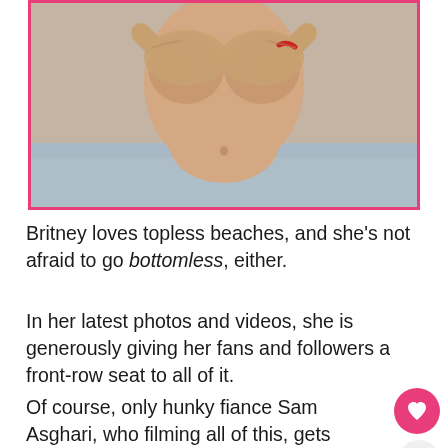[Figure (photo): Cropped photo of a person at a beach, partially covering chest with hands, with water/sand in background, framed with a pink border]
Britney loves topless beaches, and she’s not afraid to go bottomless, either.
In her latest photos and videos, she is generously giving her fans and followers a front-row seat to all of it.
Of course, only hunky fiance Sam Asghari, who filming all of this, gets to see the Instagram-inappropriate beauty in her full glory.